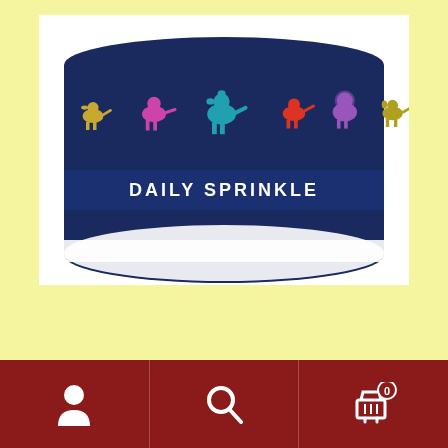[Figure (photo): Product photo of Tartar X Daily Sprinkle can with colorful dog silhouettes on a dark navy background, shown partially cropped from above]
Tartar X
£9.99 – £19.99
Tartar X
Navigation bar with person icon, search icon, and cart icon with badge 0